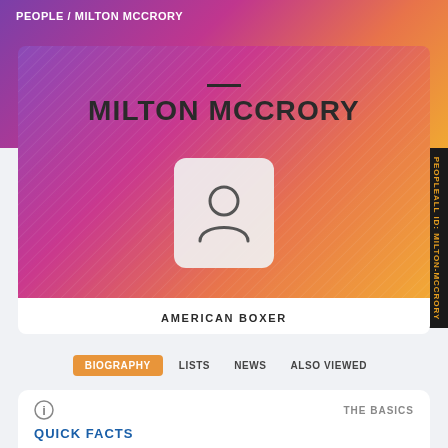PEOPLE / MILTON MCCRORY
[Figure (illustration): Profile banner with gradient from purple to pink to orange-yellow, containing the name MILTON MCCRORY in bold with a line above, and a generic person avatar icon in a rounded square below the name. A vertical dark sidebar on the right edge reads 'PEOPLEALL ID: MILTON-MCCRORY' rotated 90 degrees.]
AMERICAN BOXER
BIOGRAPHY  LISTS  NEWS  ALSO VIEWED
THE BASICS
QUICK FACTS
Intro   American boxer
Is   Athlete   Boxer